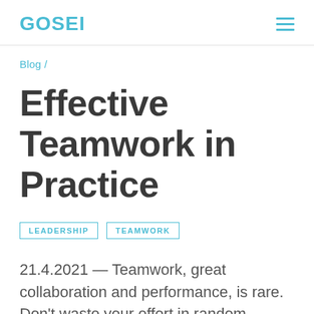GOSEI
Blog /
Effective Teamwork in Practice
LEADERSHIP   TEAMWORK
21.4.2021 — Teamwork, great collaboration and performance, is rare. Don't waste your effort in random